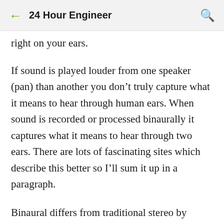← 24 Hour Engineer 🔍
right on your ears.
If sound is played louder from one speaker (pan) than another you don't truly capture what it means to hear through human ears. When sound is recorded or processed binaurally it captures what it means to hear through two ears. There are lots of fascinating sites which describe this better so I'll sum it up in a paragraph.
Binaural differs from traditional stereo by recording or processing sound as it is actually heard by ears. Sound originating from one side